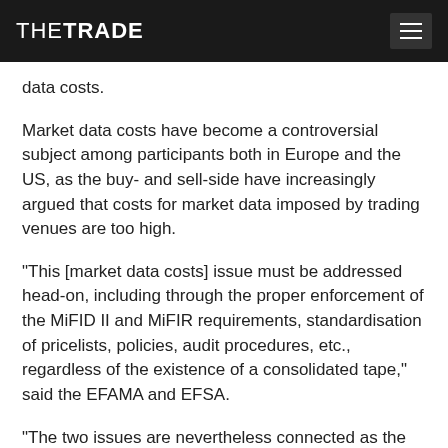THETRADE
data costs.
Market data costs have become a controversial subject among participants both in Europe and the US, as the buy- and sell-side have increasingly argued that costs for market data imposed by trading venues are too high.
“This [market data costs] issue must be addressed head-on, including through the proper enforcement of the MiFID II and MiFIR requirements, standardisation of pricelists, policies, audit procedures, etc., regardless of the existence of a consolidated tape,” said the EFAMA and EFSA.
“The two issues are nevertheless connected as the commercial viability of the consolidated tape provider (CTP) will be closely connected to the price at which it obtains